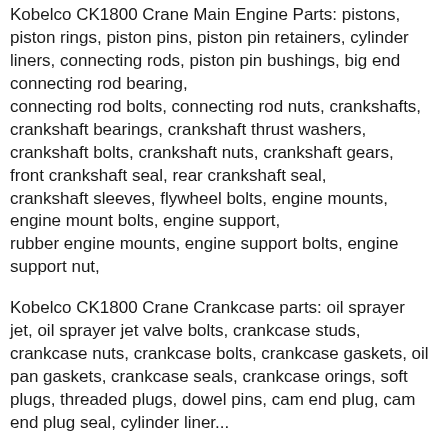Kobelco CK1800 Crane Main Engine Parts: pistons, piston rings, piston pins, piston pin retainers, cylinder liners, connecting rods, piston pin bushings, big end connecting rod bearing, connecting rod bolts, connecting rod nuts, crankshafts, crankshaft bearings, crankshaft thrust washers, crankshaft bolts, crankshaft nuts, crankshaft gears, front crankshaft seal, rear crankshaft seal, crankshaft sleeves, flywheel bolts, engine mounts, engine mount bolts, engine support, rubber engine mounts, engine support bolts, engine support nut,
Kobelco CK1800 Crane Crankcase parts: oil sprayer jet, oil sprayer jet valve bolts, crankcase studs, crankcase nuts, crankcase bolts, crankcase gaskets, oil pan gaskets, crankcase seals, crankcase orings, soft plugs, threaded plugs, dowel pins, cam end plug, cam end plug seal, cylinder liner...